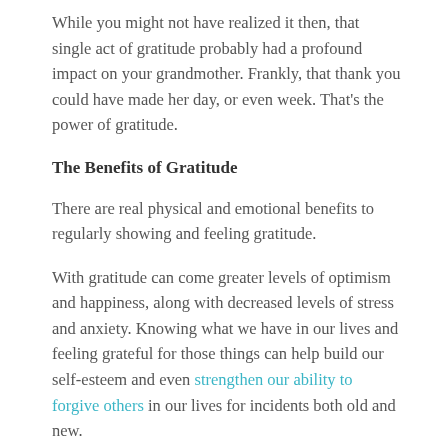While you might not have realized it then, that single act of gratitude probably had a profound impact on your grandmother. Frankly, that thank you could have made her day, or even week. That's the power of gratitude.
The Benefits of Gratitude
There are real physical and emotional benefits to regularly showing and feeling gratitude.
With gratitude can come greater levels of optimism and happiness, along with decreased levels of stress and anxiety. Knowing what we have in our lives and feeling grateful for those things can help build our self-esteem and even strengthen our ability to forgive others in our lives for incidents both old and new.
There have been actual scientific studies on this phenomenon, showing evidence that gratitude can help